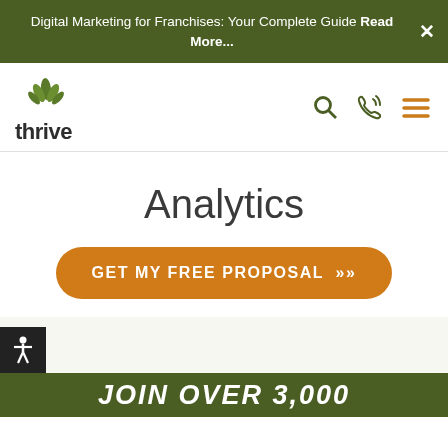Digital Marketing for Franchises: Your Complete Guide Read More...
[Figure (logo): Thrive internet marketing agency logo — green leaf/plant icon above the word 'thrive' in dark text]
Analytics
GET MY FREE PROPOSAL »
JOIN OVER 3,000